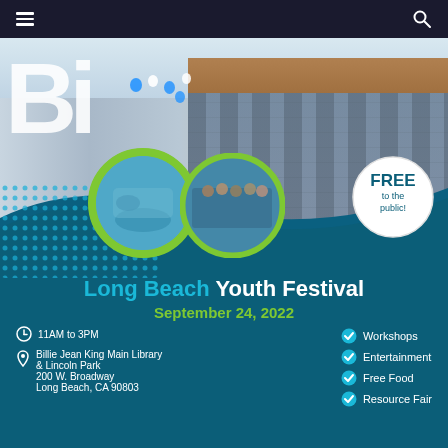navigation bar with hamburger menu and search icon
[Figure (photo): Long Beach Youth Festival promotional flyer showing building with large B letters and blue balloons, with circular inset photos of a pool/water feature and a group of people, plus a FREE to the public badge]
Long Beach Youth Festival
September 24, 2022
11AM to 3PM
Billie Jean King Main Library & Lincoln Park 200 W. Broadway Long Beach, CA 90803
Workshops
Entertainment
Free Food
Resource Fair